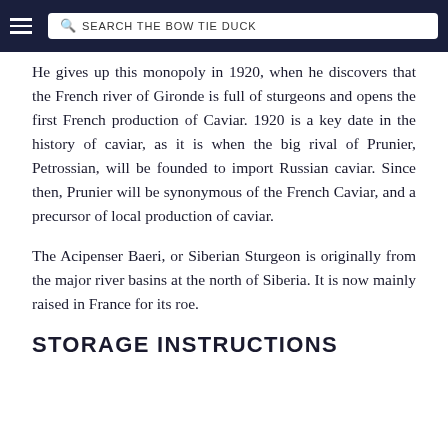SEARCH THE BOW TIE DUCK
He gives up this monopoly in 1920, when he discovers that the French river of Gironde is full of sturgeons and opens the first French production of Caviar. 1920 is a key date in the history of caviar, as it is when the big rival of Prunier, Petrossian, will be founded to import Russian caviar. Since then, Prunier will be synonymous of the French Caviar, and a precursor of local production of caviar.
The Acipenser Baeri, or Siberian Sturgeon is originally from the major river basins at the north of Siberia. It is now mainly raised in France for its roe.
STORAGE INSTRUCTIONS